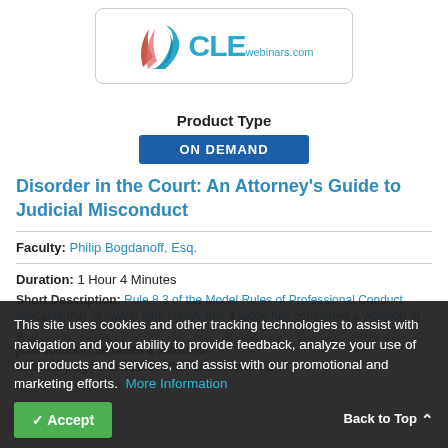[Figure (logo): CLEwebinars.com logo with teal and red swoosh graphic element]
Product Type
ON DEMAND
Disorder in the Court: An Attorney’s Guide to Judicial Misconduct
Faculty: Philip Bogdanoff, Esq.
Duration: 1 Hour 4 Minutes
Short Description: Rule 8.3 of the Model Rules of Professional Conduct indicates that “a lawyer who knows that a judge has committed a violation of applicable rules of judicial conduct that raises a substantial question as to the judge’s fitness for office shall inform the
This site uses cookies and other tracking technologies to assist with navigation and your ability to provide feedback, analyze your use of our products and services, and assist with our promotional and marketing efforts. More Information
Accept
Back to Top